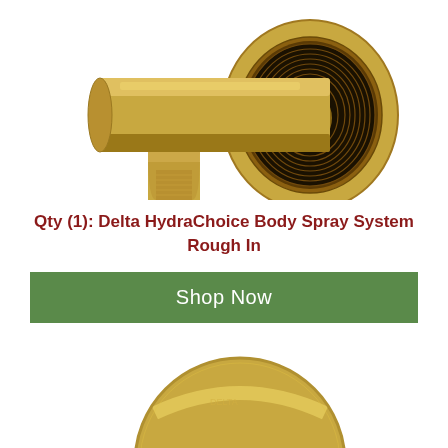[Figure (photo): Close-up photo of a brass/gold Delta HydraChoice body spray system rough-in fitting, showing threaded male and female connectors]
Qty (1): Delta HydraChoice Body Spray System Rough In
Shop Now
[Figure (photo): Close-up photo of a gold/champagne bronze Delta body spray head component with circular housing]